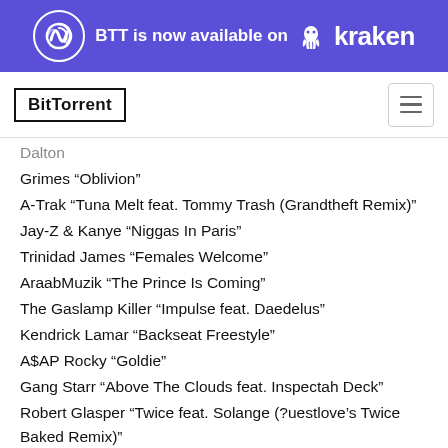[Figure (infographic): Purple banner ad: BitTorrent spiral logo, text 'BTT is now available on', Kraken logo with kraken icon and wordmark]
[Figure (logo): BitTorrent logo in bordered box on left; hamburger menu icon on right]
Dalton
Grimes “Oblivion”
A-Trak “Tuna Melt feat. Tommy Trash (Grandtheft Remix)”
Jay-Z & Kanye “Niggas In Paris”
Trinidad James “Females Welcome”
AraabMuzik “The Prince Is Coming”
The Gaslamp Killer “Impulse feat. Daedelus”
Kendrick Lamar “Backseat Freestyle”
A$AP Rocky “Goldie”
Gang Starr “Above The Clouds feat. Inspectah Deck”
Robert Glasper “Twice feat. Solange (?uestlove’s Twice Baked Remix)”
Gary Clark Jr. “The Life”
Joey Bada$$ “Waves”
Naughty By Nature “Jamboree feat. Zhane”